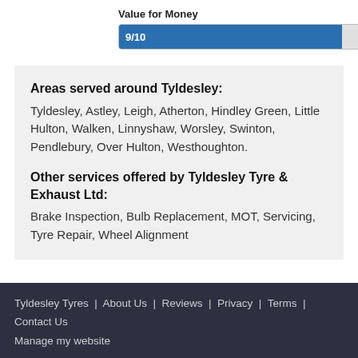Value for Money
[Figure (other): Rating bar showing 9/10 for Value for Money. Blue fill covers 90% of bar width with white text '9/10'.]
Areas served around Tyldesley:
Tyldesley, Astley, Leigh, Atherton, Hindley Green, Little Hulton, Walken, Linnyshaw, Worsley, Swinton, Pendlebury, Over Hulton, Westhoughton.
Other services offered by Tyldesley Tyre & Exhaust Ltd:
Brake Inspection, Bulb Replacement, MOT, Servicing, Tyre Repair, Wheel Alignment
Tyldesley Tyres | About Us | Reviews | Privacy | Terms | Contact Us
Manage my website